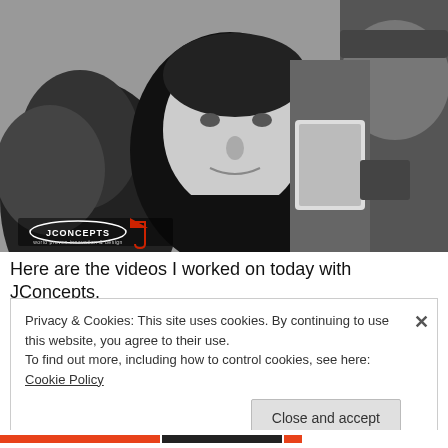[Figure (photo): Black and white photograph of a young man in a JConcepts branded shirt, looking slightly to the side, surrounded by other people. A JConcepts logo is visible in the lower left of the image.]
Here are the videos I worked on today with JConcepts.
Privacy & Cookies: This site uses cookies. By continuing to use this website, you agree to their use.
To find out more, including how to control cookies, see here: Cookie Policy
Close and accept